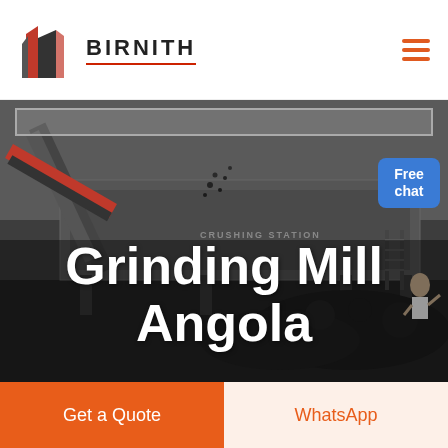[Figure (logo): Birnith company logo: red and dark grey building/skyscraper icon with text BIRNITH in bold letters and red underline]
[Figure (photo): Industrial crushing station with heavy machinery, conveyor belts, and coal/rock material. Dark moody industrial scene.]
Grinding Mill Angola
Free chat
Get a Quote
WhatsApp